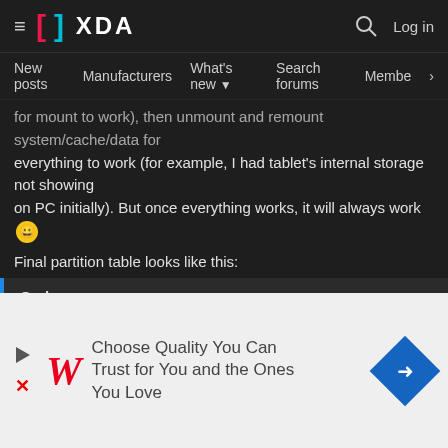XDA Developers — Navigation header with logo, search, and login
New posts  Manufacturers  What's new  Search forums  Members  >
for mount to work), then unmount and remount system/cache/data for everything to work (for example, I had tablet's internal storage not showing on PC initially). But once everything works, it will always work 😀
Final partition table looks like this:
Code:
| Number | Start | End | Size | File system | Name | F |
| --- | --- | --- | --- | --- | --- | --- |
| 1 | 67.1MB | 157MB | 89.6MB | fat16 | radio |  |
| 2 | 201MB | 204MB | 3146kB |  | modemst1 |  |
| 3 | 204MB | 208MB | 3146kB |  | modemst2 |  |
| 4 | 268MB | 284MB | 15.4MB | ext4 | persist |  |
| 5 | 336MB | 336MB | 799kB |  | m9kefs1 |  |
| 6 |  |  |  |  | ...fs2 |  |
| 7 |  |  |  |  | ...fs3 |  |
| 8 |  |  |  |  |  |  |
| 9 |  |  |  |  |  |  |
| 10 |  |  |  |  |  |  |
| 11 |  |  |  |  |  |  |